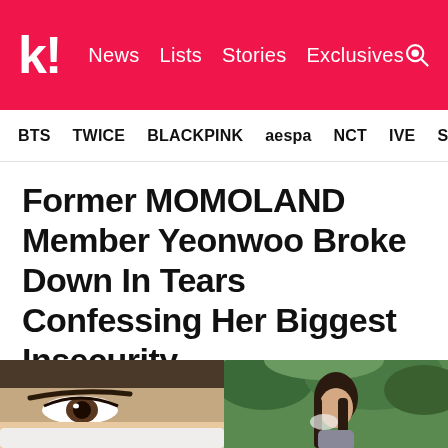k! News Lists Stories Exclusives
BTS TWICE BLACKPINK aespa NCT IVE SHIN...
Former MOMOLAND Member Yeonwoo Broke Down In Tears Confessing Her Biggest Insecurity
She believed she ranked last among the members.
[Figure (photo): Two side-by-side photos: left shows a close-up of a person's eye/face with a white mask, right shows a person with dark hair outdoors with greenery in background.]